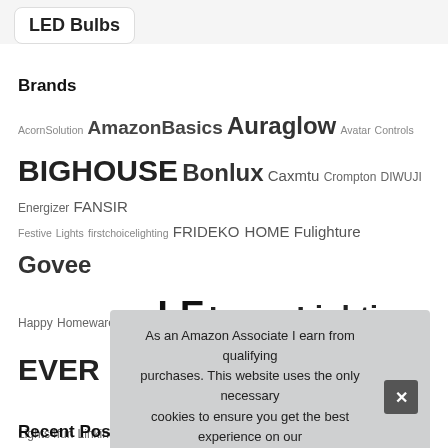LED Bulbs
Brands
AcornSolution AmazonBasics Auraglow Avatar Controls BIGHOUSE Bonlux Caxmtu Crompton DIWUJI Energizer FANSIR Festive Lights firstchoicelighting FRIDEKO HOME Fulighture Govee Happy Homewares HiBay LE Lepro Lighting EVER Lights4fun Linkind litogo Lixada LOHAS-LED Long Life Lamp Company Luxvista MiniSun National Lighting OMERIL Osram Paladone paul russells Philips Philips Hue Philips LED QNINE Signify TaoTronics Techgomade TEC
As an Amazon Associate I earn from qualifying purchases. This website uses the only necessary cookies to ensure you get the best experience on our website. More information
Recent Posts